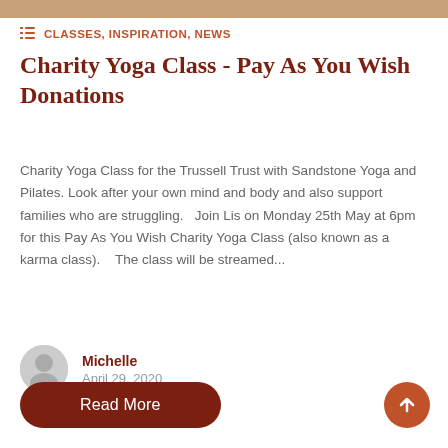CLASSES, INSPIRATION, NEWS
Charity Yoga Class - Pay As You Wish Donations
Charity Yoga Class for the Trussell Trust with Sandstone Yoga and Pilates. Look after your own mind and body and also support families who are struggling.   Join Lis on Monday 25th May at 6pm for this Pay As You Wish Charity Yoga Class (also known as a karma class).    The class will be streamed...
Michelle
April 29, 2020